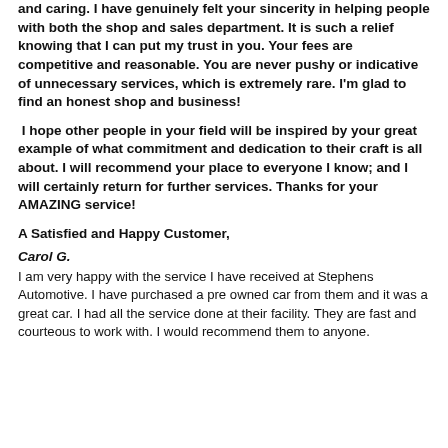and caring. I have genuinely felt your sincerity in helping people with both the shop and sales department. It is such a relief knowing that I can put my trust in you. Your fees are competitive and reasonable. You are never pushy or indicative of unnecessary services, which is extremely rare. I'm glad to find an honest shop and business!
I hope other people in your field will be inspired by your great example of what commitment and dedication to their craft is all about. I will recommend your place to everyone I know; and I will certainly return for further services. Thanks for your AMAZING service!
A Satisfied and Happy Customer,
Carol G.
I am very happy with the service I have received at Stephens Automotive. I have purchased a pre owned car from them and it was a great car. I had all the service done at their facility. They are fast and courteous to work with. I would recommend them to anyone.